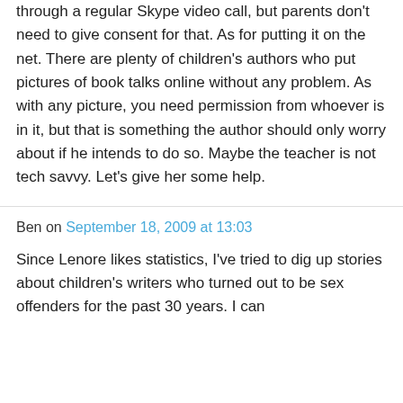through a regular Skype video call, but parents don't need to give consent for that. As for putting it on the net. There are plenty of children's authors who put pictures of book talks online without any problem. As with any picture, you need permission from whoever is in it, but that is something the author should only worry about if he intends to do so. Maybe the teacher is not tech savvy. Let's give her some help.
Ben on September 18, 2009 at 13:03
Since Lenore likes statistics, I've tried to dig up stories about children's writers who turned out to be sex offenders for the past 30 years. I can think of one at most (and I'm not even sure if I...